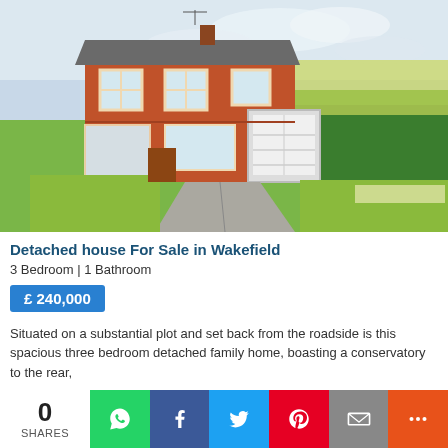[Figure (photo): Exterior photo of a detached red-brick house with white garage door and manicured garden path, set against a green hedge and field backdrop under a cloudy sky. Located in Wakefield.]
Detached house For Sale in Wakefield
3 Bedroom | 1 Bathroom
£ 240,000
Situated on a substantial plot and set back from the roadside is this spacious three bedroom detached family home, boasting a conservatory to the rear,
0 SHARES